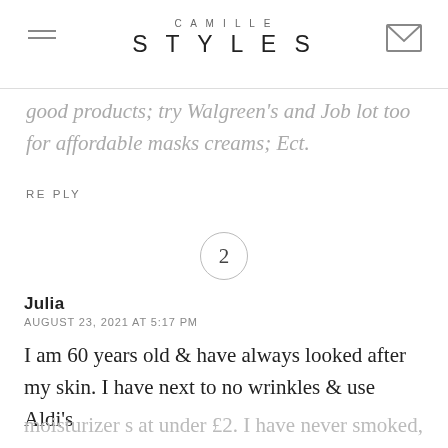CAMILLE STYLES
good products; try Walgreen's and Job lot too for affordable masks creams; Ect.
REPLY
2
Julia
AUGUST 23, 2021 AT 5:17 PM
I am 60 years old & have always looked after my skin. I have next to no wrinkles & use Aldi's moisturizer s at under £2. I have never smoked, never go out in the sun without protection & stay